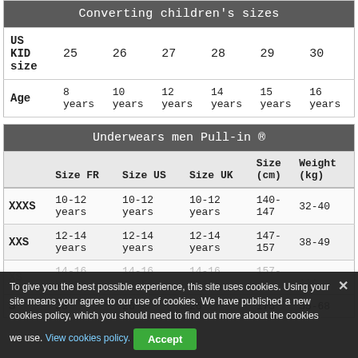| US KID size | 25 | 26 | 27 | 28 | 29 | 30 |
| --- | --- | --- | --- | --- | --- | --- |
| Age | 8 years | 10 years | 12 years | 14 years | 15 years | 16 years |
|  | Size FR | Size US | Size UK | Size (cm) | Weight (kg) |
| --- | --- | --- | --- | --- | --- |
| XXXS | 10-12 years | 10-12 years | 10-12 years | 140-147 | 32-40 |
| XXS | 12-14 years | 12-14 years | 12-14 years | 147-157 | 38-49 |
| XS | ... | ... | ... | ... | ... |
| S | 38 | 26 | 26 | 175 | 55-68 |
To give you the best possible experience, this site uses cookies. Using your site means your agree to our use of cookies. We have published a new cookies policy, which you should need to find out more about the cookies we use. View cookies policy. Accept